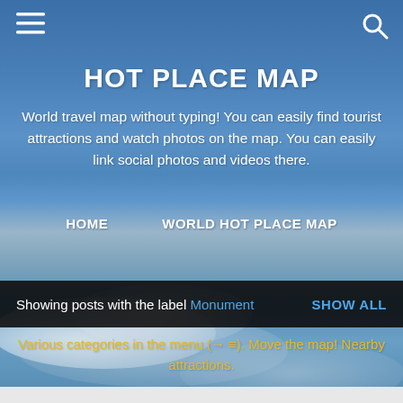[Figure (screenshot): Website header screenshot for Hot Place Map app, showing a blue sky with clouds background, hamburger menu icon top-left, search icon top-right, site title HOT PLACE MAP, description text, navigation links HOME and WORLD HOT PLACE MAP, a dark label bar showing 'Showing posts with the label Monument' and 'SHOW ALL', yellow info text about categories and map interaction, and a light gray footer strip.]
HOT PLACE MAP
World travel map without typing! You can easily find tourist attractions and watch photos on the map. You can easily link social photos and videos there.
HOME
WORLD HOT PLACE MAP
Showing posts with the label Monument    SHOW ALL
Various categories in the menu (→ ≡). Move the map! Nearby attractions.